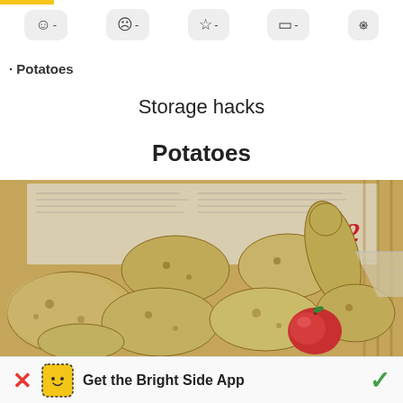· (icon row with smiley -, sad -, star -, chat -, share -)
Potatoes (cutoff)
Storage hacks
Potatoes
[Figure (photo): Potatoes stored in a wooden crate lined with newspaper, with a red apple among them.]
Get the Bright Side App